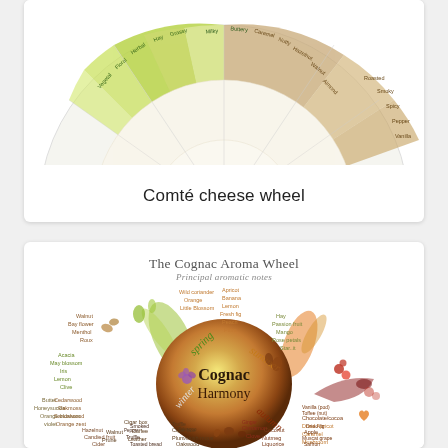[Figure (other): Partially visible Comté cheese wheel flavor/aroma wheel diagram, showing top portion of a circular wheel with green and tan/beige segments and small text labels around the perimeter.]
Comté cheese wheel
[Figure (other): The Cognac Aroma Wheel — an artistic illustration showing a central sphere labeled 'Cognac Harmony' with seasonal sections (spring, summer, autumn, winter) and surrounding aromatic notes arranged around it with decorative splashes of liquid and natural elements. Principal aromatic notes listed include floral, fruity, spicy, woody, and other categories of cognac aroma descriptors.]